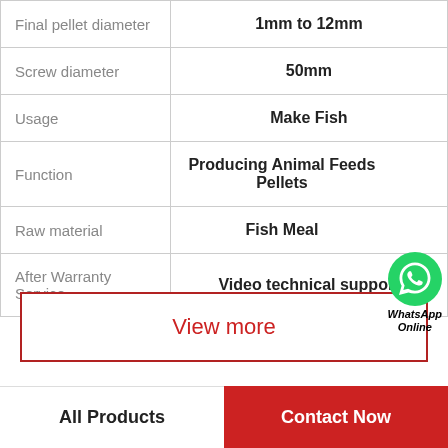| Property | Value |
| --- | --- |
| Final pellet diameter | 1mm to 12mm |
| Screw diameter | 50mm |
| Usage | Make Fish |
| Function | Producing Animal Feeds Pellets |
| Raw material | Fish Meal |
| After Warranty Service | Video technical support |
[Figure (logo): WhatsApp green circle logo with phone icon and text 'WhatsApp Online' in bold italic]
View more
All Products
Contact Now